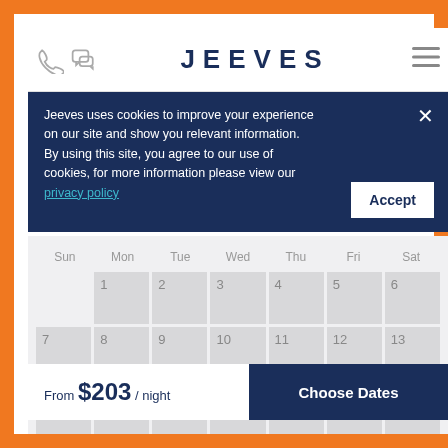JEEVES
Jeeves uses cookies to improve your experience on our site and show you relevant information. By using this site, you agree to our use of cookies, for more information please view our privacy policy
[Figure (other): Monthly calendar grid showing days 1-20 with columns Sun, Mon, Tue, Wed, Thu, Fri, Sat]
From $203 / night
Choose Dates